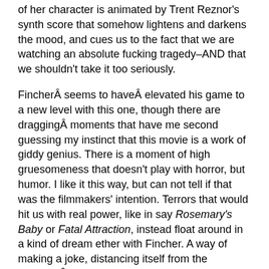of her character is animated by Trent Reznor's synth score that somehow lightens and darkens the mood, and cues us to the fact that we are watching an absolute fucking tragedy–AND that we shouldn't take it too seriously.
Fincher  seems to have  elevated his game to a new level with this one, though there are dragging  moments that have me second guessing my instinct that this movie is a work of giddy genius. There is a moment of high gruesomeness that doesn't play with horror, but humor. I like it this way, but can not tell if that was the filmmakers' intention. Terrors that would hit us with real power, like in say Rosemary's Baby or Fatal Attraction, instead float around in a kind of dream ether with Fincher. A way of making a joke, distancing itself from the material.  And so the most attainable feelings I could manage were disbelief, black laughter and massive admiration for craft. But the real physical  power of a horror story is lost in Fincher's intricate dialogue, the switch up in narration  and plotting, the comedy, and the overwhelmingly yellow and smoky look Fincher is sticking to the color. The characters like robots in a hot basement.